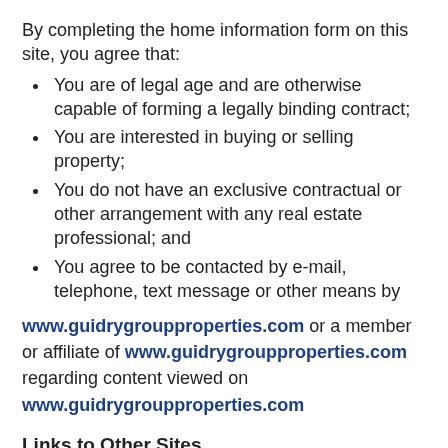By completing the home information form on this site, you agree that:
You are of legal age and are otherwise capable of forming a legally binding contract;
You are interested in buying or selling property;
You do not have an exclusive contractual or other arrangement with any real estate professional; and
You agree to be contacted by e-mail, telephone, text message or other means by
www.guidrygroupproperties.com or a member or affiliate of www.guidrygroupproperties.com regarding content viewed on www.guidrygroupproperties.com
Links to Other Sites
From time to time